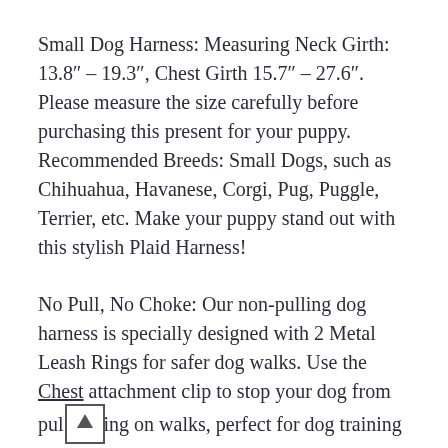Small Dog Harness: Measuring Neck Girth: 13.8" – 19.3", Chest Girth 15.7" – 27.6". Please measure the size carefully before purchasing this present for your puppy. Recommended Breeds: Small Dogs, such as Chihuahua, Havanese, Corgi, Pug, Puggle, Terrier, etc. Make your puppy stand out with this stylish Plaid Harness!
No Pull, No Choke: Our non-pulling dog harness is specially designed with 2 Metal Leash Rings for safer dog walks. Use the Chest attachment clip to stop your dog from pulling on walks, perfect for dog training or dogs who tend to pull. The back one is great for casual